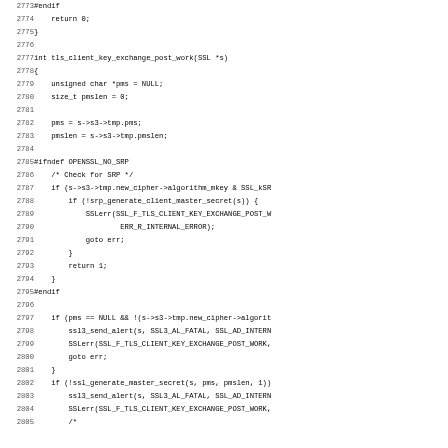Source code listing lines 2773-2805, C code for tls_client_key_exchange_post_work function